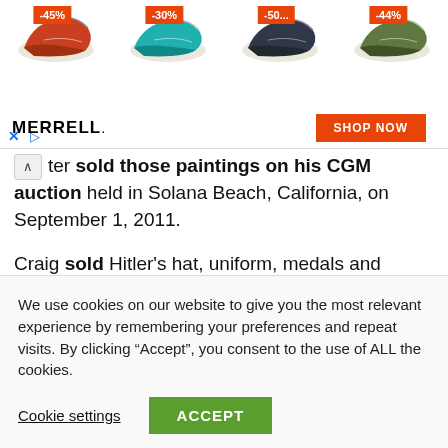[Figure (screenshot): Merrell shoe advertisement banner showing four shoes with discount badges (-45%, -30%, -50..., -44%), Merrell logo, and orange SHOP NOW button]
ter sold those paintings on his CGM auction held in Solana Beach, California, on September 1, 2011.
Craig sold Hitler's hat, uniform, medals and personal items in the same year; he also sold Hitler's copy of Mein Kampf for the price of $28,400.
His first appearance in media was when he appeared
We use cookies on our website to give you the most relevant experience by remembering your preferences and repeat visits. By clicking “Accept”, you consent to the use of ALL the cookies.